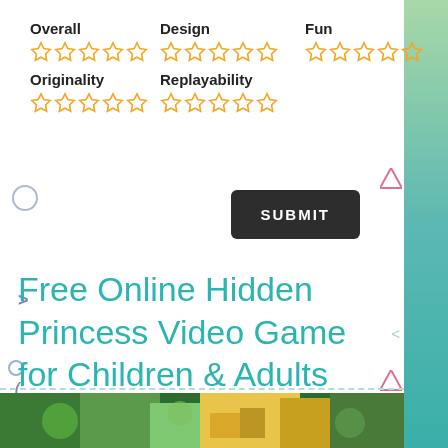Overall
Design
Fun
Originality
Replayability
SUBMIT
Free Online Hidden Princess Video Game for Children & Adults Screenshots
[Figure (screenshot): Bottom strip showing a colorful game screenshot with green and yellow tones]